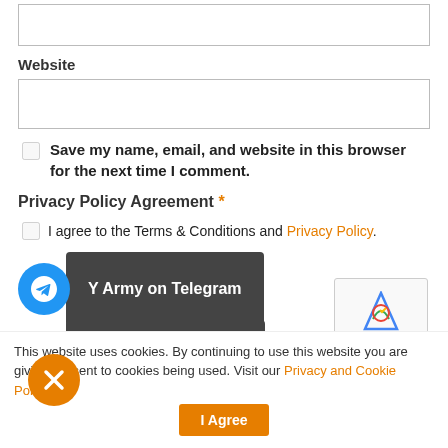[text input box top]
Website
[website input box]
Save my name, email, and website in this browser for the next time I comment.
Privacy Policy Agreement *
I agree to the Terms & Conditions and Privacy Policy.
[Figure (screenshot): Y Army on Telegram button with Telegram icon]
[Figure (screenshot): Y Army on WhatsApp button with WhatsApp icon]
[Figure (screenshot): reCAPTCHA widget showing checkbox and CAPTCHA text]
This website uses cookies. By continuing to use this website you are giving consent to cookies being used. Visit our Privacy and Cookie Policy.
[Figure (other): Orange close (X) circle button]